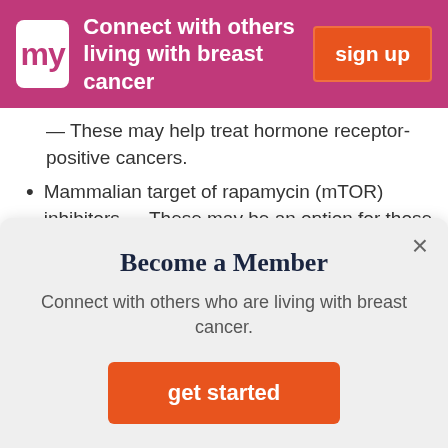[Figure (screenshot): Pink header banner with 'my' logo, tagline 'Connect with others living with breast cancer', and orange 'sign up' button]
— These may help treat hormone receptor-positive cancers.
Mammalian target of rapamycin (mTOR) inhibitors — These may be an option for those with hormone receptor-positive, HER2-negative IDC who have already
[Figure (screenshot): Modal popup: 'Become a Member' with subtitle 'Connect with others who are living with breast cancer.' and orange 'get started' button]
genes.
Hormone Therapy
Cancer cells that contain the hormone receptors ER and